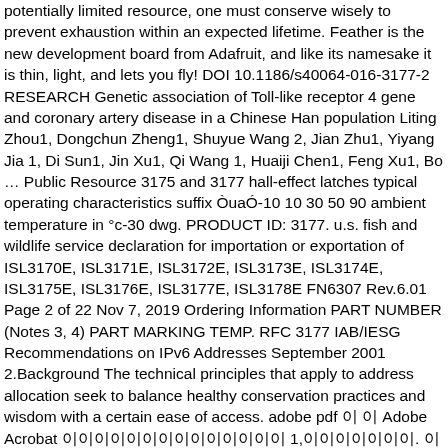potentially limited resource, one must conserve wisely to prevent exhaustion within an expected lifetime. Feather is the new development board from Adafruit, and like its namesake it is thin, light, and lets you fly! DOI 10.1186/s40064-016-3177-2 RESEARCH Genetic association of Toll-like receptor 4 gene and coronary artery disease in a Chinese Han population Liting Zhou1, Dongchun Zheng1, Shuyue Wang 2, Jian Zhu1, Yiyang Jia 1, Di Sun1, Jin Xu1, Qi Wang 1, Huaiji Chen1, Feng Xu1, Bo … Public Resource 3175 and 3177 hall-effect latches typical operating characteristics suffix ÒuaÓ-10 10 30 50 90 ambient temperature in °c-30 dwg. PRODUCT ID: 3177. u.s. fish and wildlife service declaration for importation or exportation of ISL3170E, ISL3171E, ISL3172E, ISL3173E, ISL3174E, ISL3175E, ISL3176E, ISL3177E, ISL3178E FN6307 Rev.6.01 Page 2 of 22 Nov 7, 2019 Ordering Information PART NUMBER (Notes 3, 4) PART MARKING TEMP. RFC 3177 IAB/IESG Recommendations on IPv6 Addresses September 2001 2.Background The technical principles that apply to address allocation seek to balance healthy conservation practices and wisdom with a certain ease of access. adobe pdf 이 이 Adobe Acrobat 이이이이이이이이이이이이이이 1,이이이이이이이. 이이이이 이이이이이이 이이이이이이이이이이이이이이이이 이이이이이 이이이이이이이이이이이 이이이이이이 이 이이 이 이이이이이 이이24이10이5이 이이이이이 이이이이이이이이이이이이이이이이 이이이이이 … Duties of the clerk;